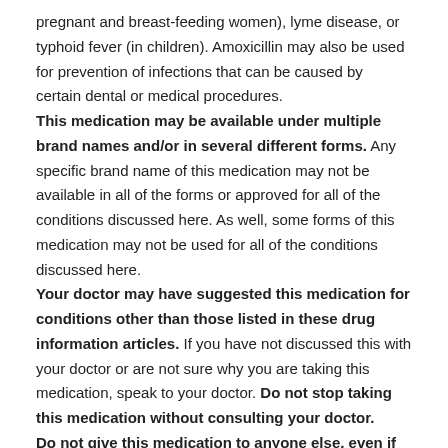pregnant and breast-feeding women), lyme disease, or typhoid fever (in children). Amoxicillin may also be used for prevention of infections that can be caused by certain dental or medical procedures. This medication may be available under multiple brand names and/or in several different forms. Any specific brand name of this medication may not be available in all of the forms or approved for all of the conditions discussed here. As well, some forms of this medication may not be used for all of the conditions discussed here. Your doctor may have suggested this medication for conditions other than those listed in these drug information articles. If you have not discussed this with your doctor or are not sure why you are taking this medication, speak to your doctor. Do not stop taking this medication without consulting your doctor. Do not give this medication to anyone else, even if they have the same symptoms as you do. It can be harmful for people to...